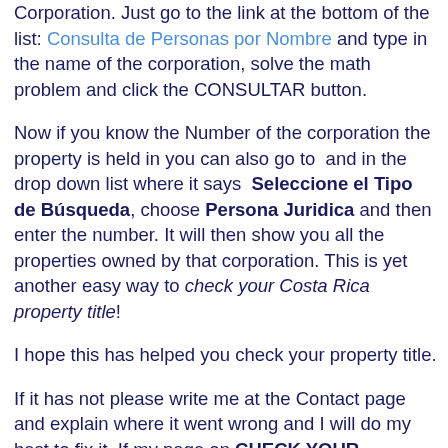Corporation. Just go to the link at the bottom of the list: Consulta de Personas por Nombre and type in the name of the corporation, solve the math problem and click the CONSULTAR button.
Now if you know the Number of the corporation the property is held in you can also go to and in the drop down list where it says Seleccione el Tipo de Búsqueda, choose Persona Juridica and then enter the number. It will then show you all the properties owned by that corporation. This is yet another easy way to check your Costa Rica property title!
I hope this has helped you check your property title.
If it has not please write me at the Contact page and explain where it went wrong and I will do my best to fix it. If my page on CHECK YOUR